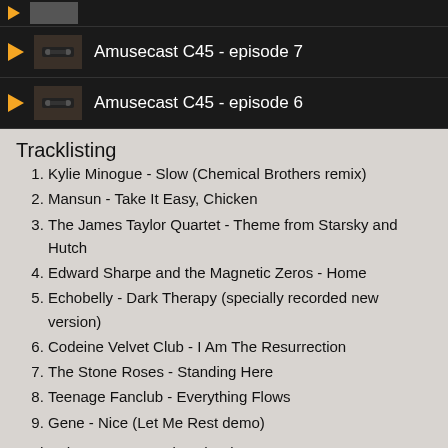[Figure (screenshot): Podcast episode list showing two episodes: Amusecast C45 - episode 7 and Amusecast C45 - episode 6 with play buttons and thumbnails on dark background]
Tracklisting
Kylie Minogue - Slow (Chemical Brothers remix)
Mansun - Take It Easy, Chicken
The James Taylor Quartet - Theme from Starsky and Hutch
Edward Sharpe and the Magnetic Zeros - Home
Echobelly - Dark Therapy (specially recorded new version)
Codeine Velvet Club - I Am The Resurrection
The Stone Roses - Standing Here
Teenage Fanclub - Everything Flows
Gene - Nice (Let Me Rest demo)
Rather have 'em as a download? Here you go.